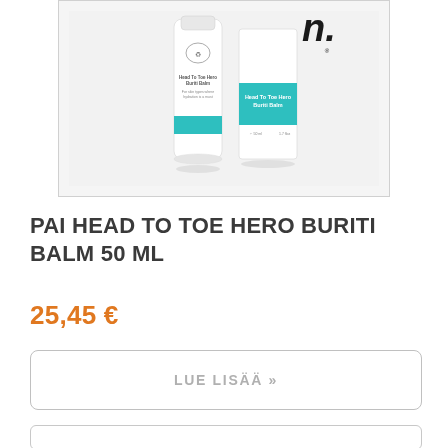[Figure (photo): Product photo showing Pai Head To Toe Hero Buriti Balm 50ml tube and box packaging. The tube is white with teal/turquoise accent band and small logo. The box is white with a teal label panel showing product name.]
PAI HEAD TO TOE HERO BURITI BALM 50 ML
25,45 €
LUE LISÄÄ »